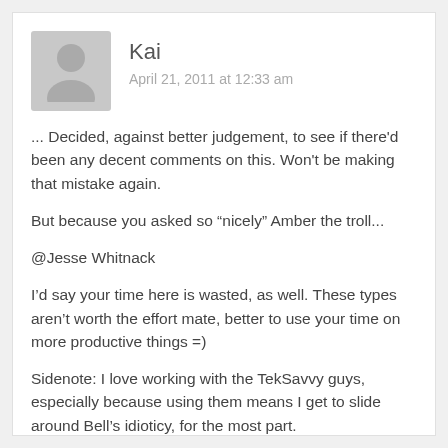[Figure (illustration): Gray avatar placeholder icon showing a silhouette of a person]
Kai
April 21, 2011 at 12:33 am
... Decided, against better judgement, to see if there'd been any decent comments on this. Won't be making that mistake again.
But because you asked so “nicely” Amber the troll...
@Jesse Whitnack
I’d say your time here is wasted, as well. These types aren’t worth the effort mate, better to use your time on more productive things =)
Sidenote: I love working with the TekSavvy guys, especially because using them means I get to slide around Bell’s idioticy, for the most part.
@Martin